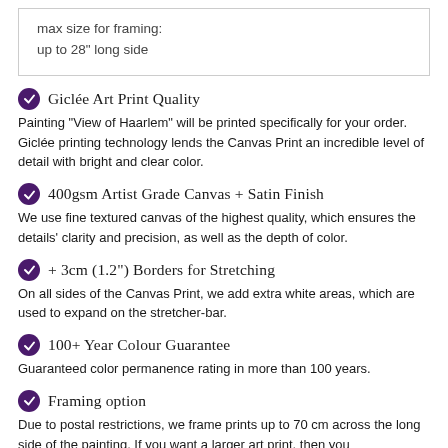max size for framing:
up to 28" long side
Giclée Art Print Quality
Painting "View of Haarlem" will be printed specifically for your order. Giclée printing technology lends the Canvas Print an incredible level of detail with bright and clear color.
400gsm Artist Grade Canvas + Satin Finish
We use fine textured canvas of the highest quality, which ensures the details' clarity and precision, as well as the depth of color.
+ 3cm (1.2") Borders for Stretching
On all sides of the Canvas Print, we add extra white areas, which are used to expand on the stretcher-bar.
100+ Year Colour Guarantee
Guaranteed color permanence rating in more than 100 years.
Framing option
Due to postal restrictions, we frame prints up to 70 cm across the long side of the painting. If you want a larger art print, then you